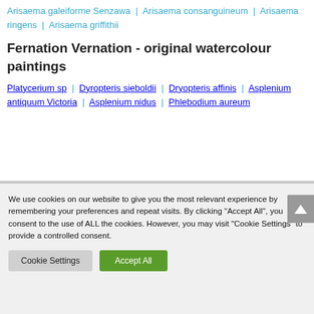Arisaema galeiforme Senzawa | Arisaema consanguineum | Arisaema ringens | Arisaema griffithii
Fernation Vernation - original watercolour paintings
Platycerium sp | Dyropteris sieboldii | Dryopteris affinis | Asplenium antiquum Victoria | Asplenium nidus | Phlebodium aureum
We use cookies on our website to give you the most relevant experience by remembering your preferences and repeat visits. By clicking "Accept All", you consent to the use of ALL the cookies. However, you may visit "Cookie Settings" to provide a controlled consent.